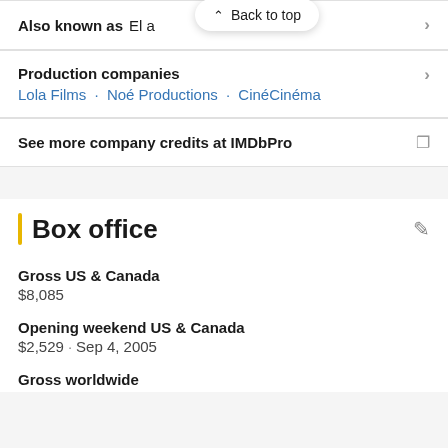Language · French
Also known as  El a  [Back to top button visible]
Production companies
Lola Films · Noé Productions · CinéCinéma
See more company credits at IMDbPro
Box office
Gross US & Canada
$8,085
Opening weekend US & Canada
$2,529 · Sep 4, 2005
Gross worldwide